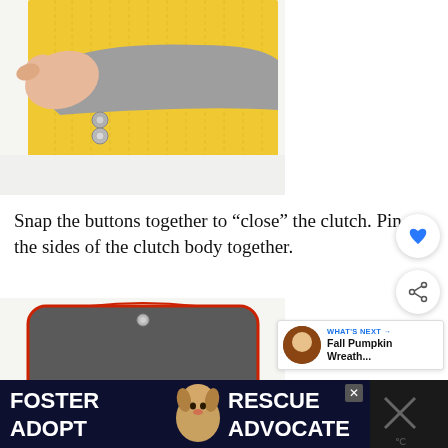[Figure (photo): A hand holding up a yellow quilted fabric with snap buttons and gray felt backing, showing the closure mechanism of a clutch bag being assembled on a white surface]
Snap the buttons together to “close” the clutch. Pin the sides of the clutch body together.
[Figure (photo): A gray clutch bag with red trim edges and a snap button at the top center, shown closed/flat view against a white background]
[Figure (photo): Advertisement banner: Foster Adopt Rescue Advocate with a beagle dog image on dark navy background]